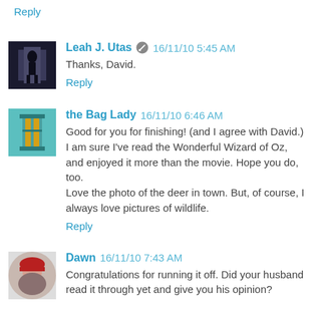Reply
Leah J. Utas  16/11/10 5:45 AM
Thanks, David.
Reply
the Bag Lady  16/11/10 6:46 AM
Good for you for finishing! (and I agree with David.) I am sure I've read the Wonderful Wizard of Oz, and enjoyed it more than the movie. Hope you do, too. Love the photo of the deer in town. But, of course, I always love pictures of wildlife.
Reply
Dawn  16/11/10 7:43 AM
Congratulations for running it off. Did your husband read it through yet and give you his opinion?